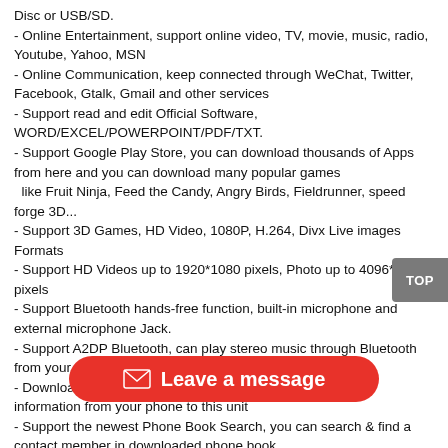Disc or USB/SD.
- Online Entertainment, support online video, TV, movie, music, radio, Youtube, Yahoo, MSN
- Online Communication, keep connected through WeChat, Twitter, Facebook, Gtalk, Gmail and other services
- Support read and edit Official Software, WORD/EXCEL/POWERPOINT/PDF/TXT.
- Support Google Play Store, you can download thousands of Apps from here and you can download many popular games
  like Fruit Ninja, Feed the Candy, Angry Birds, Fieldrunner, speed forge 3D...
- Support 3D Games, HD Video, 1080P, H.264, Divx Live images Formats
- Support HD Videos up to 1920*1080 pixels, Photo up to 4096*4096 pixels
- Support Bluetooth hands-free function, built-in microphone and external microphone Jack.
- Support A2DP Bluetooth, can play stereo music through Bluetooth from your mobile Phone
- Download phone book function, you can download contact information from your phone to this unit
- Support the newest Phone Book Search, you can search & find a contact member in downloaded phone book,
  just input the first letter of name, you will find some associated names, then you can choose the right one
- Support Torque Pro (OBD2 & Car), you can connect a ES350 Bluetooth OBD2 Scanner Tool to use this function.
- Support the newest Mirror Link with iPhone via WiFi and with Android Smartphone via USB or WiFi
- Radio Tuner with RDS, 78 Preset Radio Stations (FM: 3*18, AM: 2*12), Main Chips: TEF6686
- USB Port and Micro SD Slot, Support USB Stick and Memory Card up to 64GB
- Built-in Car DVR System, just connect a USB Camera or USB DVR to record function. the records will be saved automatically in Card/USB Storage and you can play saved record on this unit